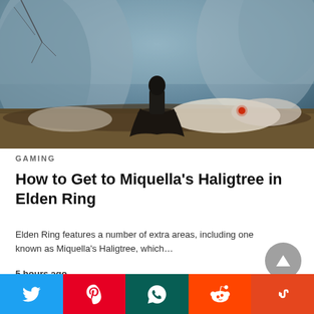[Figure (screenshot): Dark fantasy game screenshot from Elden Ring showing a cloaked figure standing on a rocky outcrop against a misty blue-grey background with large stone formations]
GAMING
How to Get to Miquella's Haligtree in Elden Ring
Elden Ring features a number of extra areas, including one known as Miquella's Haligtree, which…
5 hours ago